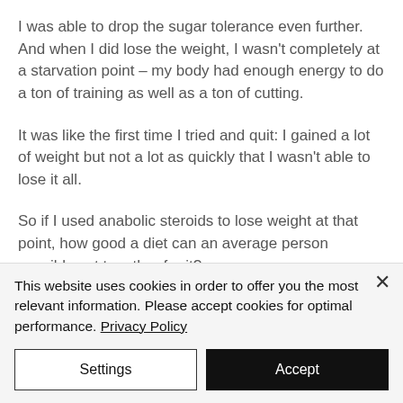I was able to drop the sugar tolerance even further. And when I did lose the weight, I wasn't completely at a starvation point – my body had enough energy to do a ton of training as well as a ton of cutting.
It was like the first time I tried and quit: I gained a lot of weight but not a lot as quickly that I wasn't able to lose it all.
So if I used anabolic steroids to lose weight at that point, how good a diet can an average person possibly put together for it?
This website uses cookies in order to offer you the most relevant information. Please accept cookies for optimal performance. Privacy Policy